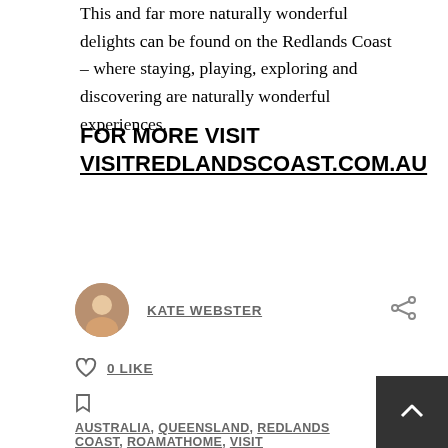This and far more naturally wonderful delights can be found on the Redlands Coast – where staying, playing, exploring and discovering are naturally wonderful experiences.
FOR MORE VISIT VISITREDLANDSCOAST.COM.AU
KATE WEBSTER
0 LIKE
AUSTRALIA, QUEENSLAND, REDLANDS COAST, ROAMATHOME, VISIT QUEENSLAND